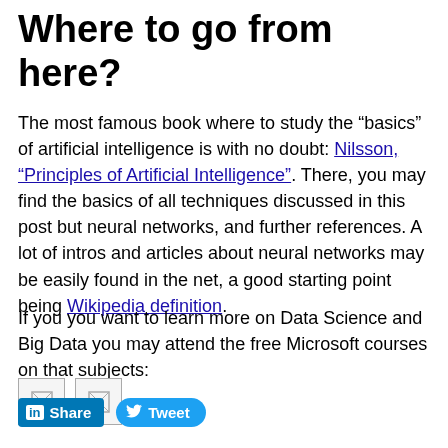Where to go from here?
The most famous book where to study the “basics” of artificial intelligence is with no doubt: Nilsson, “Principles of Artificial Intelligence”. There, you may find the basics of all techniques discussed in this post but neural networks, and further references. A lot of intros and articles about neural networks may be easily found in the net, a good starting point being Wikipedia definition.
If you you want to learn more on Data Science and Big Data you may attend the free Microsoft courses on that subjects:
[Figure (other): Two small image placeholders (broken image icons) side by side]
[Figure (other): LinkedIn Share button and Twitter Tweet button]